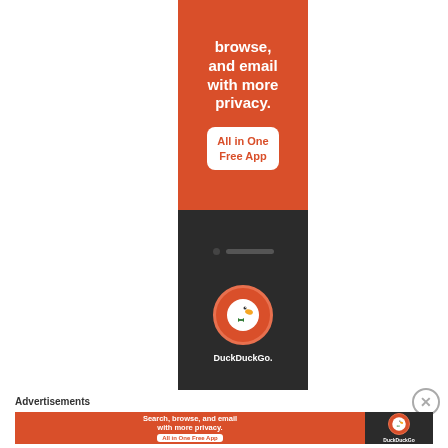[Figure (illustration): DuckDuckGo tall vertical advertisement banner. Top half has orange/red background with white bold text 'browse, and email with more privacy.' and a white button with orange text 'All in One Free App'. Bottom half shows a dark smartphone with the DuckDuckGo circular duck logo and 'DuckDuckGo.' text in white.]
Advertisements
[Figure (illustration): DuckDuckGo horizontal advertisement banner. Left orange section with text 'Search, browse, and email with more privacy.' and 'All in One Free App' white button. Right dark section with DuckDuckGo logo and name.]